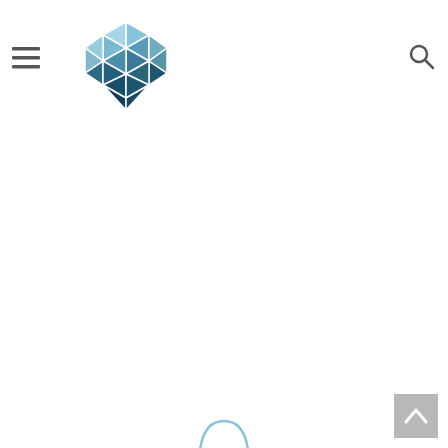[Figure (logo): Hexagonal geometric logo made of triangular facets in blue and teal colors, resembling a 3D cube/gem shape]
[Figure (other): Hamburger menu icon (three horizontal lines) in dark gray]
[Figure (other): Search/magnifying glass icon in dark gray, top right]
[Figure (other): Back-to-top button: gray square with upward chevron arrow, bottom right]
[Figure (other): Partial circular loading or decorative element visible at bottom center]